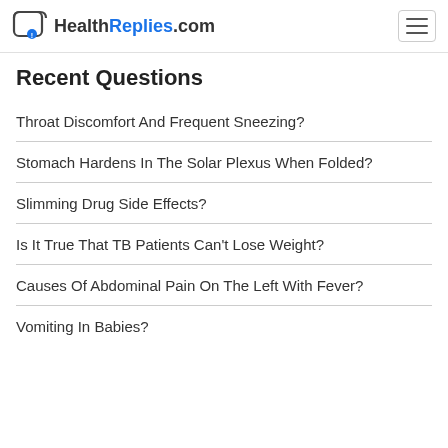HealthReplies.com
Recent Questions
Throat Discomfort And Frequent Sneezing?
Stomach Hardens In The Solar Plexus When Folded?
Slimming Drug Side Effects?
Is It True That TB Patients Can't Lose Weight?
Causes Of Abdominal Pain On The Left With Fever?
Vomiting In Babies?